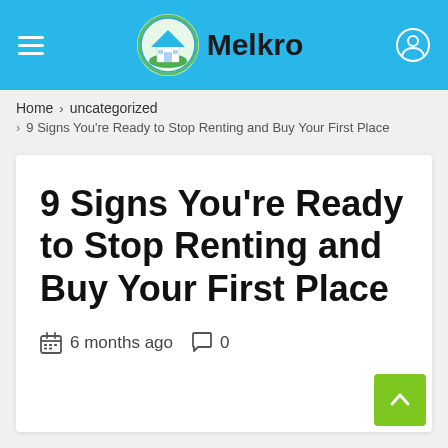Melkro
Home > uncategorized > 9 Signs You’re Ready to Stop Renting and Buy Your First Place
9 Signs You’re Ready to Stop Renting and Buy Your First Place
6 months ago  0